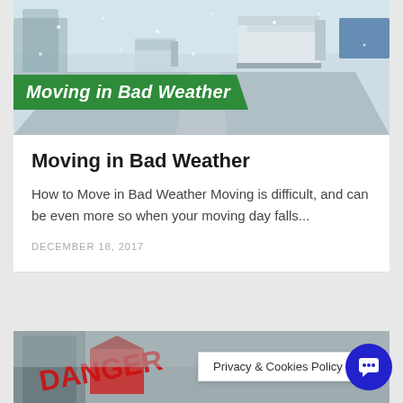[Figure (photo): Winter highway scene with trucks driving in snowy conditions, with a green banner overlay reading 'Moving in Bad Weather' in white italic bold text]
Moving in Bad Weather
How to Move in Bad Weather Moving is difficult, and can be even more so when your moving day falls...
DECEMBER 18, 2017
[Figure (photo): Partial second article card showing a winter scene with red text overlay, partially visible at bottom of page]
Privacy & Cookies Policy